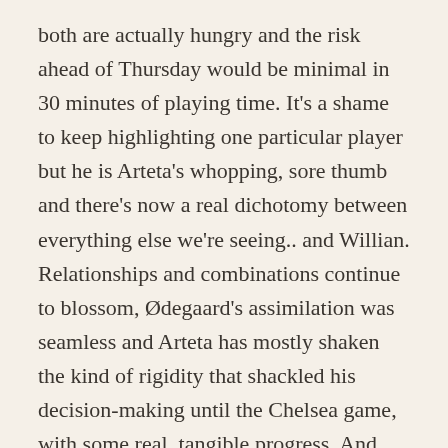both are actually hungry and the risk ahead of Thursday would be minimal in 30 minutes of playing time. It's a shame to keep highlighting one particular player but he is Arteta's whopping, sore thumb and there's now a real dichotomy between everything else we're seeing.. and Willian. Relationships and combinations continue to blossom, Ødegaard's assimilation was seamless and Arteta has mostly shaken the kind of rigidity that shackled his decision-making until the Chelsea game, with some real, tangible progress. And yet, he remains. The only real consolation Willian has left is he continues to be played out of position because a 19-year-old has essentially made themselves undroppable. He didn't look comfortable on the left wing with Tierney behind him and he looks even less comfortable with